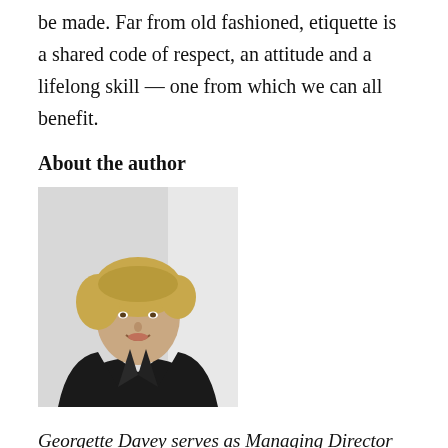be made. Far from old fashioned, etiquette is a shared code of respect, an attitude and a lifelong skill — one from which we can all benefit.
About the author
[Figure (photo): Portrait photograph of Georgette Davey, a woman with blonde hair wearing a black blazer and white shirt, smiling against a light background.]
Georgette Davey serves as Managing Director of Glion Institute of Higher Education, a leading hospitality management institution with campuses in Switzerland and the UK. She has more than two decades of experience in academic leadership